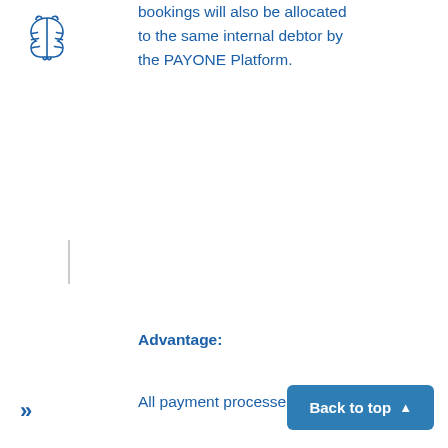[Figure (logo): Brain icon outline in blue, representing PAYONE platform branding]
bookings will also be allocated to the same internal debtor by the PAYONE Platform.
Advantage:
All payment processes by the